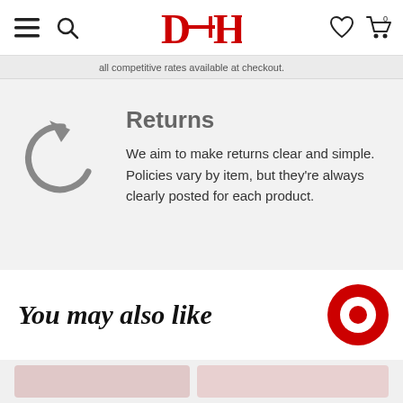D–H (logo)
all competitive rates available at checkout.
Returns
We aim to make returns clear and simple. Policies vary by item, but they're always clearly posted for each product.
You may also like